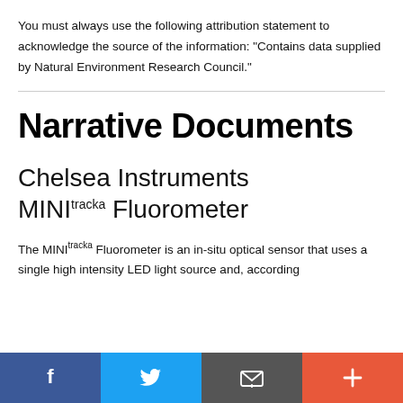You must always use the following attribution statement to acknowledge the source of the information: "Contains data supplied by Natural Environment Research Council."
Narrative Documents
Chelsea Instruments MINItracka Fluorometer
The MINItracka Fluorometer is an in-situ optical sensor that uses a single high intensity LED light source and, according